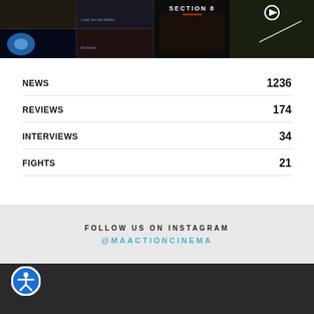[Figure (screenshot): Grid of movie thumbnail images including Section 8 movie poster and action film stills]
NEWS 1236
REVIEWS 174
INTERVIEWS 34
FIGHTS 21
FOLLOW US ON INSTAGRAM
@MAACTIONCINEMA
[Figure (illustration): Accessibility icon button - person with arms outstretched in a circle]